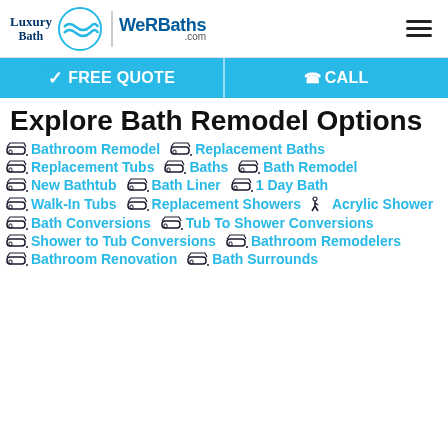Luxury Bath | WeRBaths.com
FREE QUOTE | CALL
Explore Bath Remodel Options
Bathroom Remodel
Replacement Baths
Replacement Tubs
Baths
Bath Remodel
New Bathtub
Bath Liner
1 Day Bath
Walk-In Tubs
Replacement Showers
Acrylic Shower
Bath Conversions
Tub To Shower Conversions
Shower to Tub Conversions
Bathroom Remodelers
Bathroom Renovation
Bath Surrounds